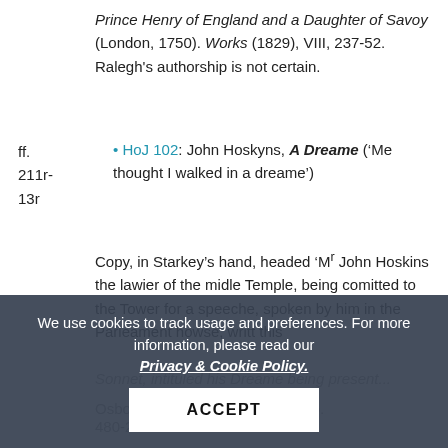Prince Henry of England and a Daughter of Savoy (London, 1750). Works (1829), VIII, 237-52. Ralegh's authorship is not certain.
HoJ 102: John Hoskyns, A Dreame ('Me thought I walked in a dreame')
Copy, in Starkey's hand, headed 'Mr John Hoskins the lawier of the midle Temple, being comitted to the Tower for a speeche, spoken by him in the Parleament howse, writt this Sonnet, intituled his Dreame being present...
Osborn, ...(pp. 86-8). Whitlock, pp. 480-2.
We use cookies to track usage and preferences. For more information, please read our Privacy & Cookie Policy.